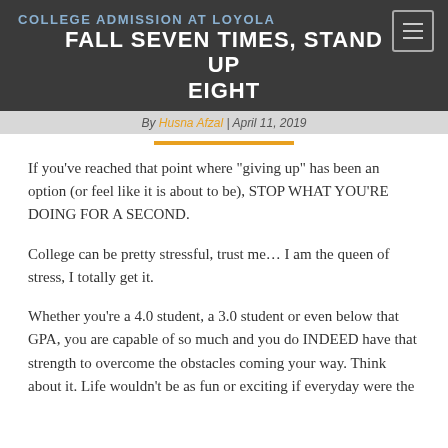FALL SEVEN TIMES, STAND UP EIGHT
COLLEGE ADMISSION AT LOYOLA
By Husna Afzal | April 11, 2019
If you’ve reached that point where “giving up” has been an option (or feel like it is about to be), STOP WHAT YOU’RE DOING FOR A SECOND.
College can be pretty stressful, trust me… I am the queen of stress, I totally get it.
Whether you’re a 4.0 student, a 3.0 student or even below that GPA, you are capable of so much and you do INDEED have that strength to overcome the obstacles coming your way. Think about it. Life wouldn’t be as fun or exciting if everyday were the